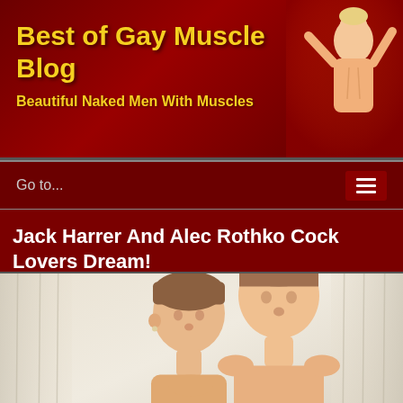Best of Gay Muscle Blog
Beautiful Naked Men With Muscles
Jack Harrer And Alec Rothko Cock Lovers Dream!
March 14th, 2015
[Figure (photo): Two young men posing together, close faces, light background with curtains]